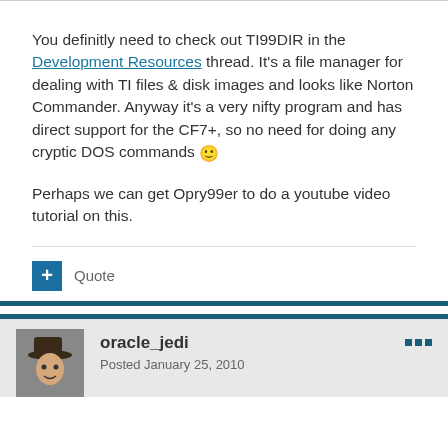You definitly need to check out TI99DIR in the Development Resources thread. It's a file manager for dealing with TI files & disk images and looks like Norton Commander. Anyway it's a very nifty program and has direct support for the CF7+, so no need for doing any cryptic DOS commands 🙂
Perhaps we can get Opry99er to do a youtube video tutorial on this.
Quote
oracle_jedi
Posted January 25, 2010